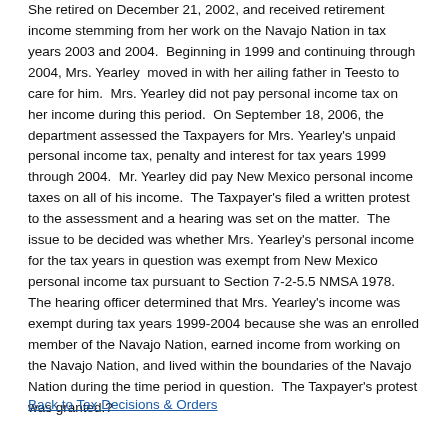She retired on December 21, 2002, and received retirement income stemming from her work on the Navajo Nation in tax years 2003 and 2004.  Beginning in 1999 and continuing through 2004, Mrs. Yearley  moved in with her ailing father in Teesto to care for him.  Mrs. Yearley did not pay personal income tax on her income during this period.  On September 18, 2006, the department assessed the Taxpayers for Mrs. Yearley's unpaid personal income tax, penalty and interest for tax years 1999 through 2004.  Mr. Yearley did pay New Mexico personal income taxes on all of his income.  The Taxpayer's filed a written protest to the assessment and a hearing was set on the matter.  The issue to be decided was whether Mrs. Yearley's personal income for the tax years in question was exempt from New Mexico personal income tax pursuant to Section 7-2-5.5 NMSA 1978.  The hearing officer determined that Mrs. Yearley's income was exempt during tax years 1999-2004 because she was an enrolled member of the Navajo Nation, earned income from working on the Navajo Nation, and lived within the boundaries of the Navajo Nation during the time period in question.  The Taxpayer's protest was granted.?
Back to Tax Decisions & Orders